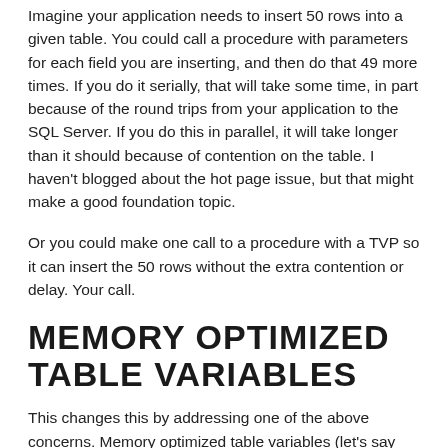Imagine your application needs to insert 50 rows into a given table. You could call a procedure with parameters for each field you are inserting, and then do that 49 more times. If you do it serially, that will take some time, in part because of the round trips from your application to the SQL Server. If you do this in parallel, it will take longer than it should because of contention on the table. I haven't blogged about the hot page issue, but that might make a good foundation topic.
Or you could make one call to a procedure with a TVP so it can insert the 50 rows without the extra contention or delay. Your call.
MEMORY OPTIMIZED TABLE VARIABLES
This changes this by addressing one of the above concerns. Memory optimized table variables (let's say motv for short), store data in memory and don't contribute to an tempdb contention. The removal of tempdb contention can be a